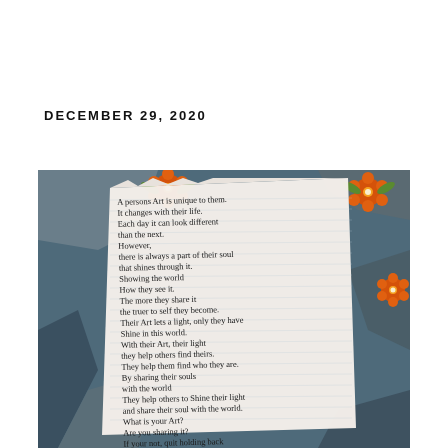DECEMBER 29, 2020
[Figure (photo): A photograph of a handwritten poem on torn lined notebook paper placed on a colorful floral fabric background. The poem reads: A persons Art is unique to them. It changes with their life. Each day it can look different than the next. However, there is always a part of their soul that shines through it. Showing the world How they see it. The more they share it the truer to self they become. Their Art lets a light, only they have Shine in this world. With their Art, their light they help others find theirs. They help them find who they are. By sharing their souls with the world They help others to Shine their light and share their soul with the world. What is your Art? Are you sharing it? If your not, quit holding back in fear. Let go. Share your soul so that others [can see the courage to do this]]